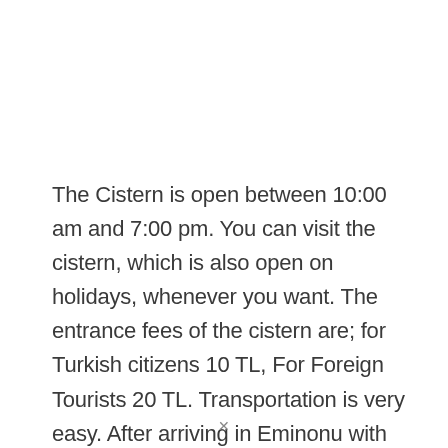The Cistern is open between 10:00 am and 7:00 pm. You can visit the cistern, which is also open on holidays, whenever you want. The entrance fees of the cistern are; for Turkish citizens 10 TL, For Foreign Tourists 20 TL. Transportation is very easy. After arriving in Eminonu with Marmaray, you can come here on foot. If you want to get on the tram, you have to get off at Sultanahmet stop and from there you